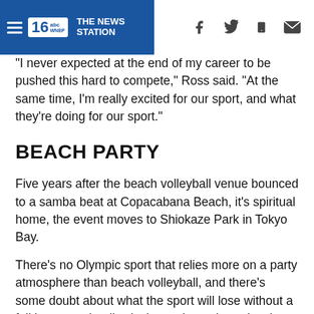16 abc WNEP THE NEWS STATION
"I never expected at the end of my career to be pushed this hard to compete," Ross said. "At the same time, I'm really excited for our sport, and what they're doing for our sport."
BEACH PARTY
Five years after the beach volleyball venue bounced to a samba beat at Copacabana Beach, it's spiritual home, the event moves to Shiokaze Park in Tokyo Bay.
There's no Olympic sport that relies more on a party atmosphere than beach volleyball, and there's some doubt about what the sport will lose without a full house and a disc jockey to keep them dancing.
"It's the Olympics, and you want that party atmosphere," Ross said. "Japanese fans are awesome, so if those are the fans we're going to have, I think it's going to be a great